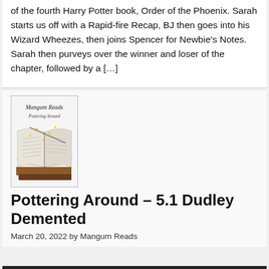of the fourth Harry Potter book, Order of the Phoenix. Sarah starts us off with a Rapid-fire Recap, BJ then goes into his Wizard Wheezes, then joins Spencer for Newbie's Notes. Sarah then purveys over the winner and loser of the chapter, followed by a […]
[Figure (logo): Mangum Reads Pottering Around logo with open books and yellow stars]
Pottering Around – 5.1 Dudley Demented
March 20, 2022 by Mangum Reads